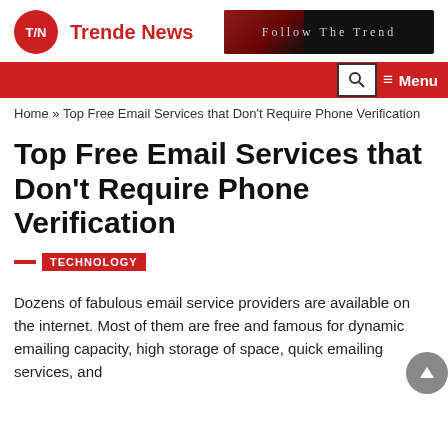T/N Trende News | Follow The Trend
[Figure (logo): Trende News logo: red circle with T/N initials in white, followed by red text 'Trende News']
[Figure (screenshot): Dark banner advertisement with red stripe and text 'Follow The Trend']
Home » Top Free Email Services that Don't Require Phone Verification
Top Free Email Services that Don't Require Phone Verification
TECHNOLOGY
Dozens of fabulous email service providers are available on the internet. Most of them are free and famous for dynamic emailing capacity, high storage of space, quick emailing services, and